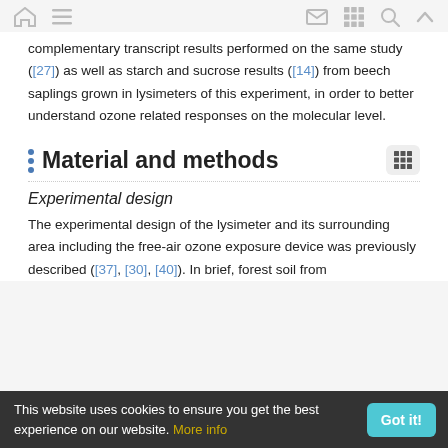Navigation bar with home, menu, mail, grid, search, and up icons
complementary transcript results performed on the same study ([27]) as well as starch and sucrose results ([14]) from beech saplings grown in lysimeters of this experiment, in order to better understand ozone related responses on the molecular level.
Material and methods
Experimental design
The experimental design of the lysimeter and its surrounding area including the free-air ozone exposure device was previously described ([37], [30], [40]). In brief, forest soil from
This website uses cookies to ensure you get the best experience on our website. More info  Got it!